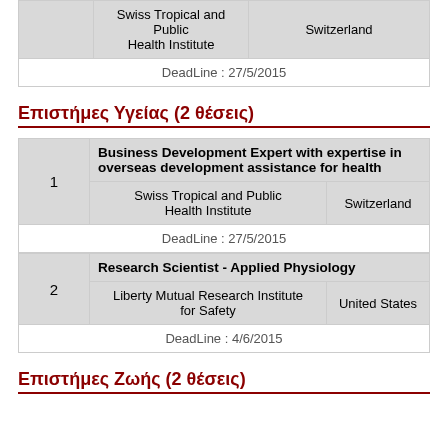|  | Organization | Country |
| --- | --- | --- |
|  | Swiss Tropical and Public Health Institute | Switzerland |
| DeadLine : 27/5/2015 |  |  |
Επιστήμες Υγείας (2 θέσεις)
| # | Title | Organization | Country |
| --- | --- | --- | --- |
| 1 | Business Development Expert with expertise in overseas development assistance for health | Swiss Tropical and Public Health Institute | Switzerland |
|  | DeadLine : 27/5/2015 |  |  |
| 2 | Research Scientist - Applied Physiology | Liberty Mutual Research Institute for Safety | United States |
|  | DeadLine : 4/6/2015 |  |  |
Επιστήμες Ζωής (2 θέσεις)